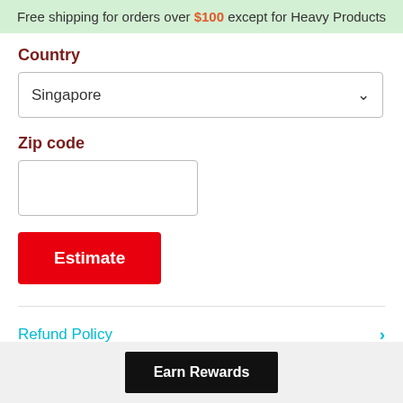Free shipping for orders over $100 except for Heavy Products
Country
Singapore
Zip code
Estimate
Refund Policy
Earn Rewards